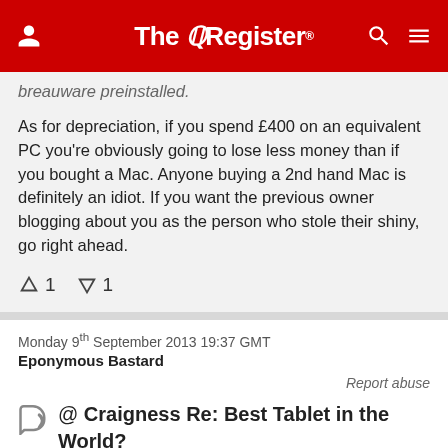The Register
breauware preinstalled.
As for depreciation, if you spend £400 on an equivalent PC you're obviously going to lose less money than if you bought a Mac. Anyone buying a 2nd hand Mac is definitely an idiot. If you want the previous owner blogging about you as the person who stole their shiny, go right ahead.
↑1  ↓1
Monday 9th September 2013 19:37 GMT
Eponymous Bastard
Report abuse
@ Craigness Re: Best Tablet in the World?
Funniest thing I've seen on here for ages - thanks Craigness!